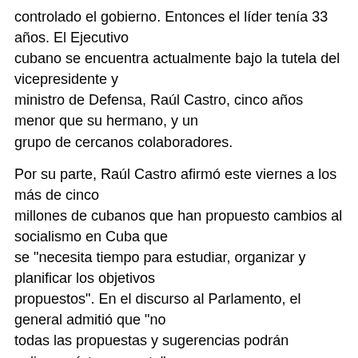controlado el gobierno. Entonces el líder tenía 33 años. El Ejecutivo cubano se encuentra actualmente bajo la tutela del vicepresidente y ministro de Defensa, Raúl Castro, cinco años menor que su hermano, y un grupo de cercanos colaboradores.
Por su parte, Raúl Castro afirmó este viernes a los más de cinco millones de cubanos que han propuesto cambios al socialismo en Cuba que se "necesita tiempo para estudiar, organizar y planificar los objetivos propuestos". En el discurso al Parlamento, el general admitió que "no todas las propuestas y sugerencias podrán aplicarse íntegramente", porque antes, dijo, "habrá que forjar consenso para determinar lo más racional".